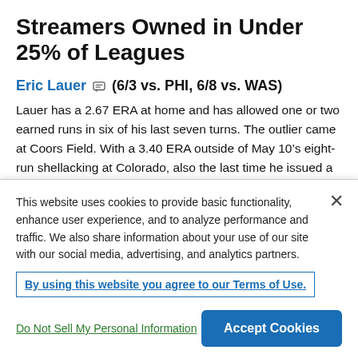Streamers Owned in Under 25% of Leagues
Eric Lauer (6/3 vs. PHI, 6/8 vs. WAS)
Lauer has a 2.67 ERA at home and has allowed one or two earned runs in six of his last seven turns. The outlier came at Coors Field. With a 3.40 ERA outside of May 10’s eight-run shellacking at Colorado, also the last time he issued a walk, the lefty is Week 10’s top true streamer.
Devin Smeltzer (6/4 @CLE, 6/9 @DET)
This is assuming Smeltzer sticks in the Twins’ rotation
This website uses cookies to provide basic functionality, enhance user experience, and to analyze performance and traffic. We also share information about your use of our site with our social media, advertising, and analytics partners.
By using this website you agree to our Terms of Use.
Do Not Sell My Personal Information
Accept Cookies